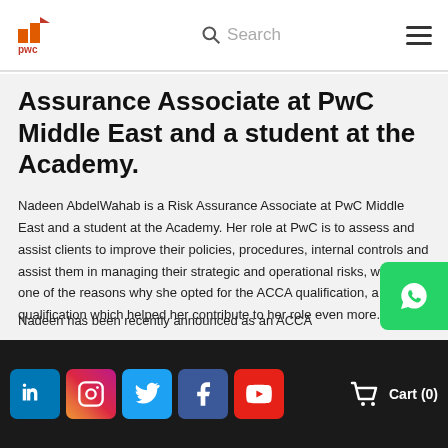PwC — Search — Menu
Assurance Associate at PwC Middle East and a student at the Academy.
Nadeen AbdelWahab is a Risk Assurance Associate at PwC Middle East and a student at the Academy. Her role at PwC is to assess and assist clients to improve their policies, procedures, internal controls and assist them in managing their strategic and operational risks, which is one of the reasons why she opted for the ACCA qualification, a qualification which helped her contribute to her role even more.
Nadeen has been recently announced as an ACCA
LinkedIn Instagram Twitter Facebook YouTube | Cart (0)